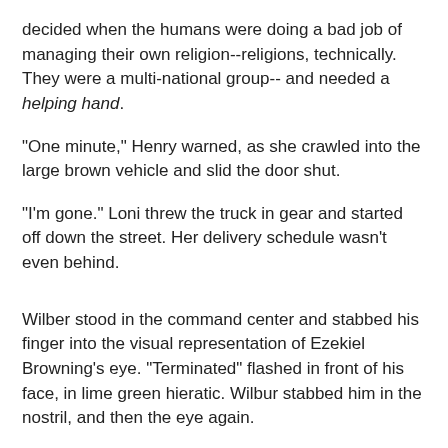decided when the humans were doing a bad job of managing their own religion--religions, technically. They were a multi-national group-- and needed a helping hand.
"One minute," Henry warned, as she crawled into the large brown vehicle and slid the door shut.
"I'm gone." Loni threw the truck in gear and started off down the street. Her delivery schedule wasn't even behind.
Wilber stood in the command center and stabbed his finger into the visual representation of Ezekiel Browning's eye. "Terminated" flashed in front of his face, in lime green hieratic. Wilbur stabbed him in the nostril, and then the eye again.
"The girl doesn't like the dirty ones, but she does good work," a crisp female voice said, stepping up behind him.
Wilber smiled slowly. "I notice you do not call her 'the girl' when she is